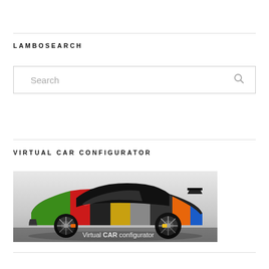LAMBOSEARCH
Search
VIRTUAL CAR CONFIGURATOR
[Figure (illustration): A Lamborghini sports car shown from the side with multi-colored paint sections (green, red, black, yellow/gold, grey, orange, blue) overlaid on the body. Text overlay at bottom reads 'Virtual CAR configurator'.]